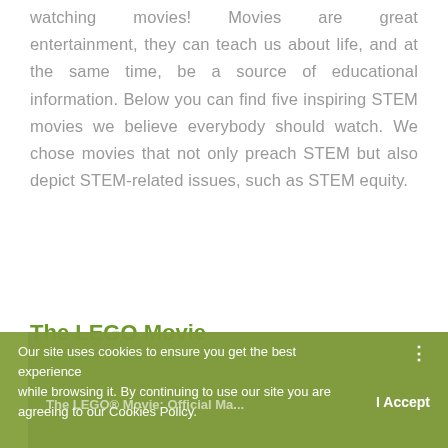watching movies! Movies are great entertainment, they can teach us about life, and at the same time, be a source of educational information. Below you can find five inspiring STEM movies we believe everybody should watch. We chose movies that not only preach STEM but also depict STEM-related issues, such as STEM equity.
The LEGO Movie
[Figure (screenshot): Cookie consent banner overlaid on a green-tinted video thumbnail showing The LEGO® Movie official content. Banner text reads: 'Our site uses cookies to ensure you get the best experience while browsing it. By continuing to use our site you are agreeing to our Cookies Policy.' with an 'I Accept' button.]